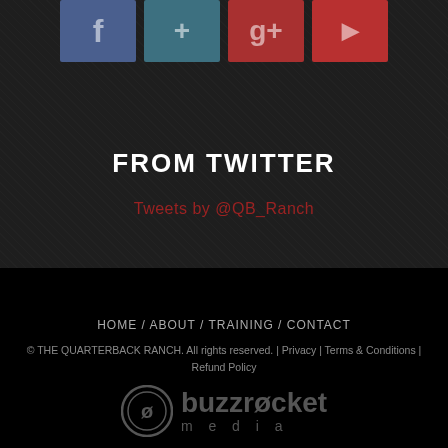[Figure (illustration): Social media icons: Facebook (blue-grey), Twitter (teal), Google+ (dark red), YouTube (red)]
FROM TWITTER
Tweets by @QB_Ranch
HOME / ABOUT / TRAINING / CONTACT
© THE QUARTERBACK RANCH. All rights reserved. | Privacy | Terms & Conditions | Refund Policy
[Figure (logo): Buzzrocket Media logo — circular icon with stylized letter and 'buzzrocket media' text]